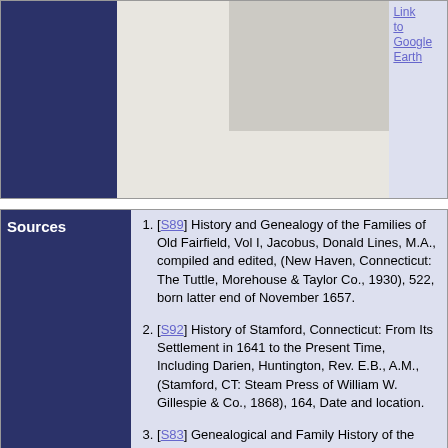[Figure (map): Map section with dark navy left panel, light beige/gray map center area with a lighter rectangle overlay in top-right portion, and lavender right column with link to Google Earth]
Link to Google Earth
Sources
[S89] History and Genealogy of the Families of Old Fairfield, Vol I, Jacobus, Donald Lines, M.A., compiled and edited, (New Haven, Connecticut: The Tuttle, Morehouse & Taylor Co., 1930), 522, born latter end of November 1657.
[S92] History of Stamford, Connecticut: From Its Settlement in 1641 to the Present Time, Including Darien, Huntington, Rev. E.B., A.M., (Stamford, CT: Steam Press of William W. Gillespie & Co., 1868), 164, Date and location.
[S83] Genealogical and Family History of the State